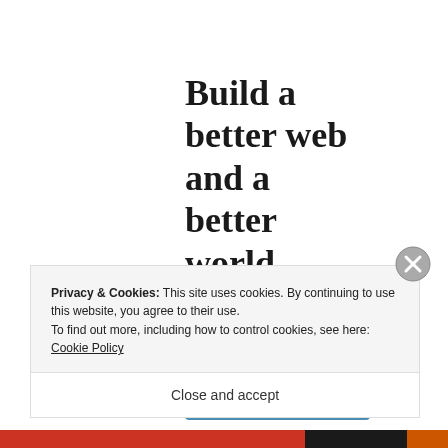Build a better web and a better world.
[Figure (other): Blue 'Apply' button]
Privacy & Cookies: This site uses cookies. By continuing to use this website, you agree to their use.
To find out more, including how to control cookies, see here: Cookie Policy
Close and accept